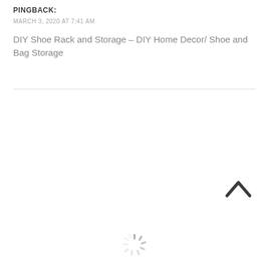PINGBACK:
MARCH 3, 2020 AT 7:41 AM
DIY Shoe Rack and Storage – DIY Home Decor/ Shoe and Bag Storage
[Figure (other): Upward chevron/caret navigation icon in dark gray]
[Figure (other): Loading spinner icon in gray]